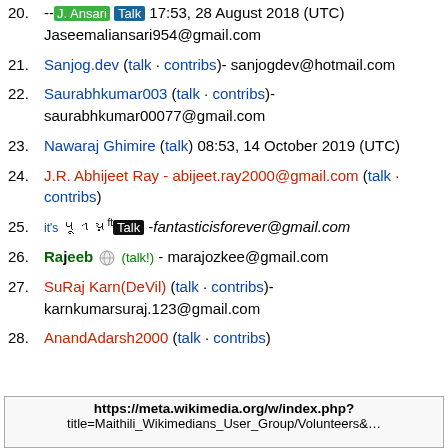20. --J. Ansari Talk 17:53, 28 August 2018 (UTC) Jaseemaliansari954@gmail.com
21. Sanjog.dev (talk · contribs)- sanjogdev@hotmail.com
22. Saurabhkumar003 (talk · contribs)- saurabhkumar00077@gmail.com
23. Nawaraj Ghimire (talk) 08:53, 14 October 2019 (UTC)
24. J.R. Abhijeet Ray - abijeet.ray2000@gmail.com (talk · contribs)
25. it's 𑂣𑂴𑂩𑂨ft Talk -fantasticisforever@gmail.com
26. Rajeeb (wiki icon) (talk!) - marajozkee@gmail.com
27. SuRaj Karn(DeVil) (talk · contribs)- karnkumarsuraj.123@gmail.com
28. AnandAdarsh2000 (talk · contribs)
https://meta.wikimedia.org/w/index.php? title=Maithili_Wikimedians_User_Group/Volunteers&…